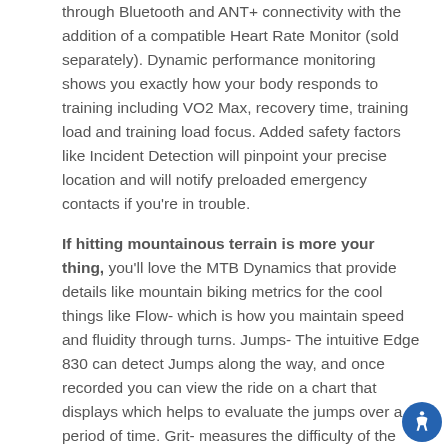through Bluetooth and ANT+ connectivity with the addition of a compatible Heart Rate Monitor (sold separately). Dynamic performance monitoring shows you exactly how your body responds to training including VO2 Max, recovery time, training load and training load focus. Added safety factors like Incident Detection will pinpoint your precise location and will notify preloaded emergency contacts if you're in trouble.
If hitting mountainous terrain is more your thing, you'll love the MTB Dynamics that provide details like mountain biking metrics for the cool things like Flow- which is how you maintain speed and fluidity through turns. Jumps- The intuitive Edge 830 can detect Jumps along the way, and once recorded you can view the ride on a chart that displays which helps to evaluate the jumps over a period of time. Grit- measures the difficulty of the Mountain Bike Trail, and does this by considering the Turn angles and Grade and is done continuously so after a run you can compare with your fellow riders and see who's the expert- which hopefully will be you. The Climbpro feature shows your Ascent and Grade as you make your climb along a Route or Course, so you can gauge of how much agony